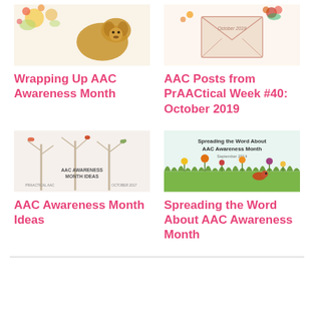[Figure (illustration): Thumbnail image for Wrapping Up AAC Awareness Month post - floral and dog image]
Wrapping Up AAC Awareness Month
[Figure (illustration): Thumbnail image for AAC Posts from PrAACtical Week #40: October 2019 - envelope with floral decoration]
AAC Posts from PrAACtical Week #40: October 2019
[Figure (illustration): Thumbnail image for AAC Awareness Month Ideas - birds on tree branches illustration]
AAC Awareness Month Ideas
[Figure (illustration): Thumbnail image for Spreading the Word About AAC Awareness Month - garden scene with text]
Spreading the Word About AAC Awareness Month